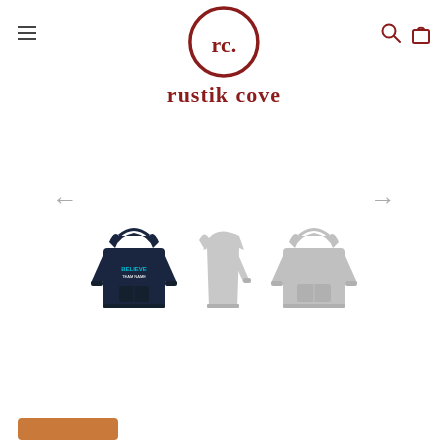[Figure (logo): Rustik Cove brand logo: circle with 'rc.' text inside in dark red/maroon, with 'rustik cove' text below in bold serif font]
[Figure (screenshot): E-commerce product page screenshot showing three hoodie thumbnails with carousel navigation arrows (left and right), and a partial orange/brown button at the bottom. The first hoodie is dark navy with a graphic print, the second and third are light gray silhouettes.]